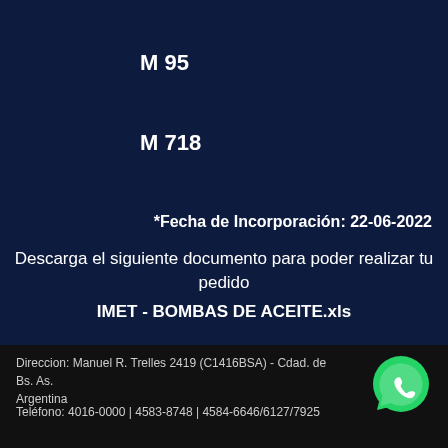M 95
M 716
M 718
*Fecha de Incorporación: 22-06-2022
Descarga el siguiente documento para poder realizar tu pedido
IMET - BOMBAS DE ACEITE.xls
Direccion: Manuel R. Trelles 2419 (C1416BSA) - Cdad. de Bs. As. Argentina
Teléfono: 4016-0000 | 4583-8748 | 4584-6646/6127/7925